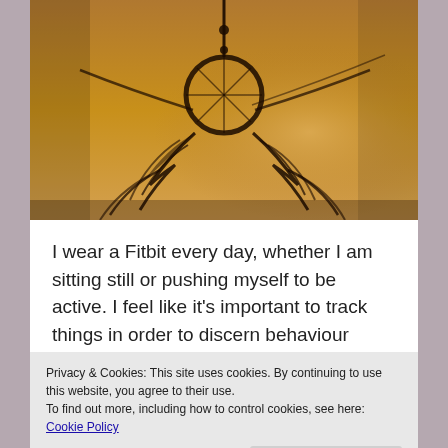[Figure (photo): Silhouette of a dream catcher hanging against a warm golden sunset sky, feathers and beads visible.]
I wear a Fitbit every day, whether I am sitting still or pushing myself to be active. I feel like it’s important to track things in order to discern behaviour patterns, fix problems, and celebrate successes.
My Fitbit tracks more than just my steps, it also tracks my heart rate and my sleep patterns. The
Privacy & Cookies: This site uses cookies. By continuing to use this website, you agree to their use.
To find out more, including how to control cookies, see here: Cookie Policy
Close and accept